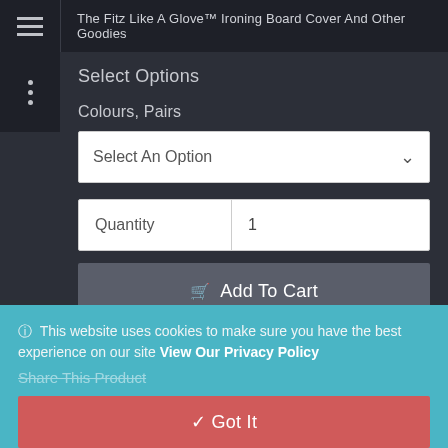The Fitz Like A Glove™ Ironing Board Cover And Other Goodies
Select Options
Colours, Pairs
Select An Option
Quantity  1
Add To Cart
ℹ This website uses cookies to make sure you have the best experience on our site View Our Privacy Policy
Share This Product
✓ Got It